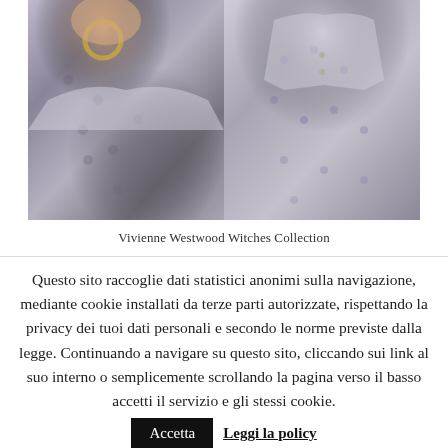[Figure (photo): Two fashion photos side by side showing models wearing Vivienne Westwood Witches Collection patterned outfits in white/grey with circular motifs. Left photo shows upper body with large hoop earring. Right photo shows full outfit.]
Vivienne Westwood Witches Collection
Questo sito raccoglie dati statistici anonimi sulla navigazione, mediante cookie installati da terze parti autorizzate, rispettando la privacy dei tuoi dati personali e secondo le norme previste dalla legge. Continuando a navigare su questo sito, cliccando sui link al suo interno o semplicemente scrollando la pagina verso il basso accetti il servizio e gli stessi cookie.